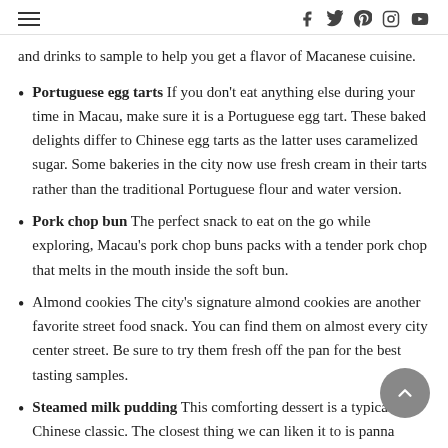≡  [social icons: f, twitter, pinterest, instagram, youtube]
and drinks to sample to help you get a flavor of Macanese cuisine.
Portuguese egg tarts If you don't eat anything else during your time in Macau, make sure it is a Portuguese egg tart. These baked delights differ to Chinese egg tarts as the latter uses caramelized sugar. Some bakeries in the city now use fresh cream in their tarts rather than the traditional Portuguese flour and water version.
Pork chop bun The perfect snack to eat on the go while exploring, Macau's pork chop buns packs with a tender pork chop that melts in the mouth inside the soft bun.
Almond cookies The city's signature almond cookies are another favorite street food snack. You can find them on almost every city center street. Be sure to try them fresh off the pan for the best tasting samples.
Steamed milk pudding This comforting dessert is a typical Chinese classic. The closest thing we can liken it to is panna